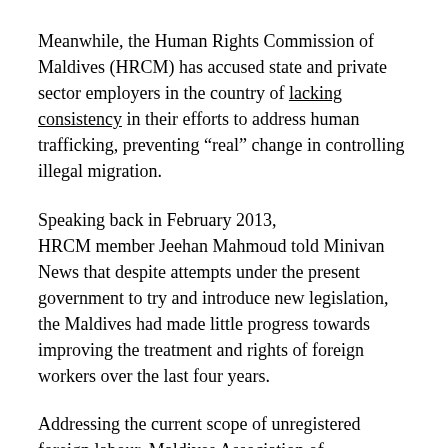Meanwhile, the Human Rights Commission of Maldives (HRCM) has accused state and private sector employers in the country of lacking consistency in their efforts to address human trafficking, preventing “real” change in controlling illegal migration.
Speaking back in February 2013, HRCM member Jeehan Mahmoud told Minivan News that despite attempts under the present government to try and introduce new legislation, the Maldives had made little progress towards improving the treatment and rights of foreign workers over the last four years.
Addressing the current scope of unregistered foreign labour, Maldives Association of Construction Industry (MACI) President Mohamed